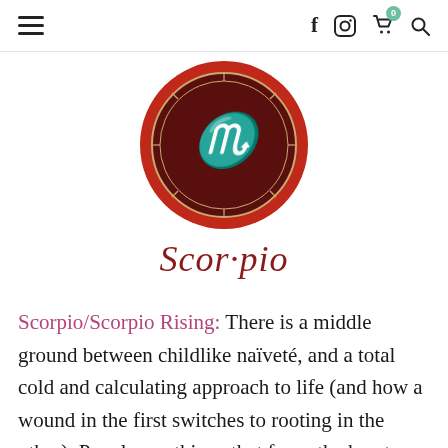≡  f  [instagram]  [cart] 0  [search]
[Figure (logo): Scorpio zodiac symbol: a circular red and dark maroon emblem with a golden Scorpio glyph (m with arrow) and decorative border, with text 'Scorpio' in dark red italic font below]
Scorpio/Scorpio Rising: There is a middle ground between childlike naïveté, and a total cold and calculating approach to life (and how a wound in the first switches to rooting in the other). People say things that favor the heart over the intellect all the time,